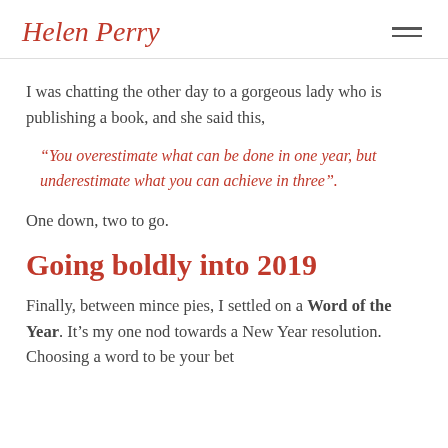Helen Penz
I was chatting the other day to a gorgeous lady who is publishing a book, and she said this,
“You overestimate what can be done in one year, but underestimate what you can achieve in three”.
One down, two to go.
Going boldly into 2019
Finally, between mince pies, I settled on a Word of the Year. It’s my one nod towards a New Year resolution. Choosing a word to be your bet…